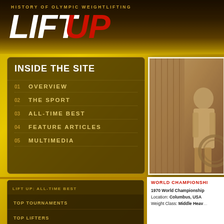HISTORY OF OLYMPIC WEIGHTLIFTING
LIFT UP
INSIDE THE SITE
01  OVERVIEW
02  THE SPORT
03  ALL-TIME BEST
04  FEATURE ARTICLES
05  MULTIMEDIA
[Figure (photo): Sepia-toned vintage photograph of a weightlifter posing beside a barbell rack or equipment]
LIFT UP: ALL-TIME BEST
TOP TOURNAMENTS
TOP LIFTERS
HALL OF FAME
WORLD CHAMPIONSHIP
1970 World Championship
Location: Columbus, USA
Weight Class: Middle Heavy...